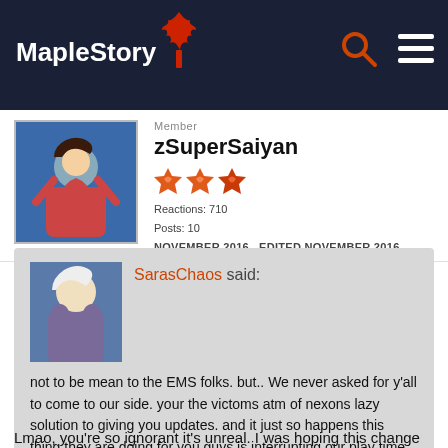MapleStory
Member
zSuperSaiyan
Reactions: 710
Posts: 10
NOVEMBER 2016   EDITED NOVEMBER 2016
SarasChaos said:

not to be mean to the EMS folks. but.. We never asked for y'all to come to our side. your the victoms atm of nexons lazy solution to giving you updates. and it just so happens this thing they are doing for you guys is interrupting our play time. just keep that in mind. @JenAskar and other misc. EMS players
Lmao, you're so ignorant it's unreal. I was hoping this change would be for the better, considering we were ALL as ONE many years ago, playing all on the same servers. Untill they split us up